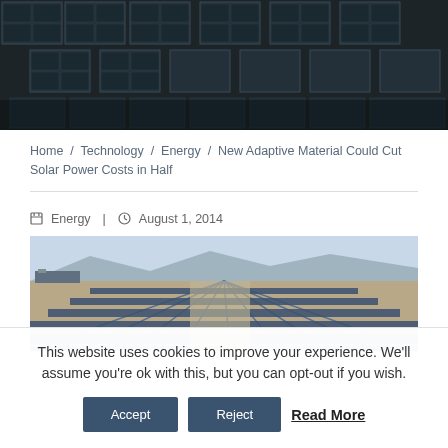[Figure (photo): Aerial or close-up photo of solar panels arranged in a grid pattern, dark blue/grey tones]
Home / Technology / Energy / New Adaptive Material Could Cut Solar Power Costs in Half
[Figure (photo): Wide-angle photo of a large solar farm with rows of solar collectors in a desert landscape]
Energy | August 1, 2014
This website uses cookies to improve your experience. We'll assume you're ok with this, but you can opt-out if you wish.
Accept   Reject   Read More